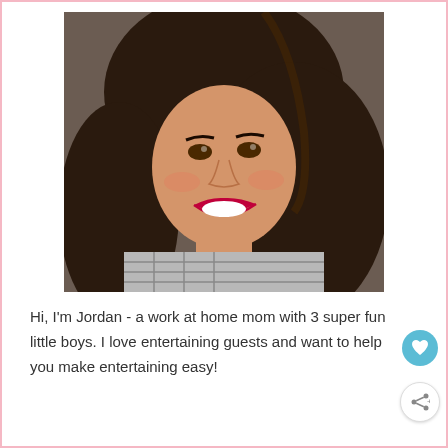[Figure (photo): Selfie photo of a smiling brunette woman with long dark hair, red lipstick, wearing a plaid grey and white shirt. She is looking slightly to the side with a big smile showing white teeth.]
Hi, I'm Jordan - a work at home mom with 3 super fun little boys. I love entertaining guests and want to help you make entertaining easy!